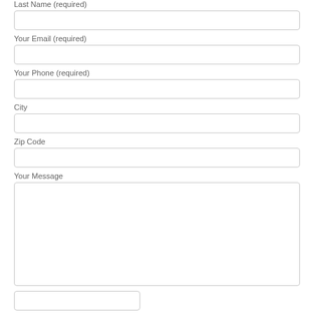Last Name (required)
Your Email (required)
Your Phone (required)
City
Zip Code
Your Message